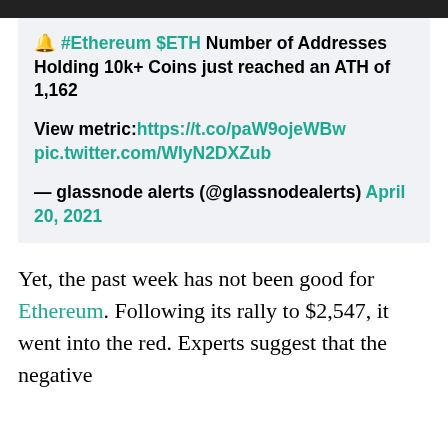🔔 #Ethereum $ETH Number of Addresses Holding 10k+ Coins just reached an ATH of 1,162

View metric:https://t.co/paW9ojeWBw
pic.twitter.com/WIyN2DXZub

— glassnode alerts (@glassnodealerts) April 20, 2021
Yet, the past week has not been good for Ethereum. Following its rally to $2,547, it went into the red. Experts suggest that the negative